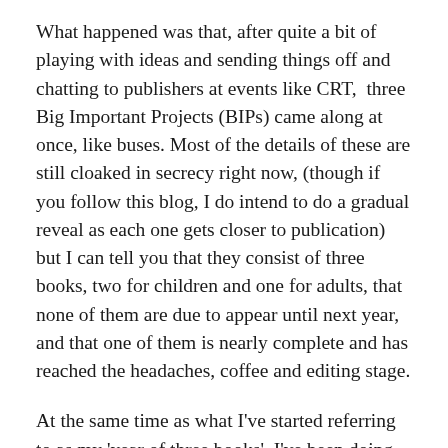What happened was that, after quite a bit of playing with ideas and sending things off and chatting to publishers at events like CRT,  three Big Important Projects (BIPs) came along at once, like buses. Most of the details of these are still cloaked in secrecy right now, (though if you follow this blog, I do intend to do a gradual reveal as each one gets closer to publication) but I can tell you that they consist of three books, two for children and one for adults, that none of them are due to appear until next year, and that one of them is nearly complete and has reached the headaches, coffee and editing stage.
At the same time as what I've started referring to as my 'year of three books', I've been doing smaller bits of writing too: I've penned a sonnet series to commemorate the centenary of the Armistice, which you'll hear more about in the Autumn, I've done a few small bits and pieces for Area 52, and I've been busy editing the new ACW Christmas anthology, which will be appearing this summer. Oh, and